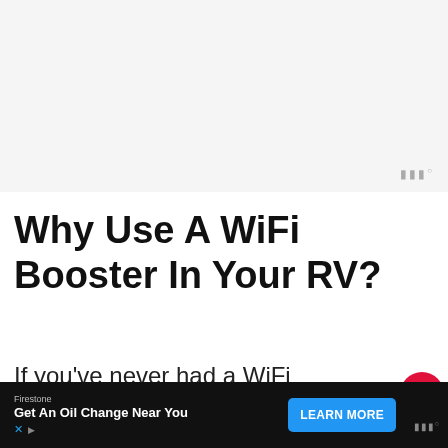[Figure (other): Advertisement banner placeholder area (light gray background)]
Why Use A WiFi Booster In Your RV?
If you’ve never had a WiFi booster before, it can be difficult to determine if you really need one – besides a reliable internet connection, there are a couple of
[Figure (other): Heart/like button (red circle with heart icon)]
[Figure (other): Share button (white circle with share icon)]
[Figure (other): What's Next widget showing Best Cell Phone Signa... article thumbnail]
[Figure (other): Advertisement banner at bottom: Firestone - Get An Oil Change Near You with Learn More button. Moat logo visible bottom right.]